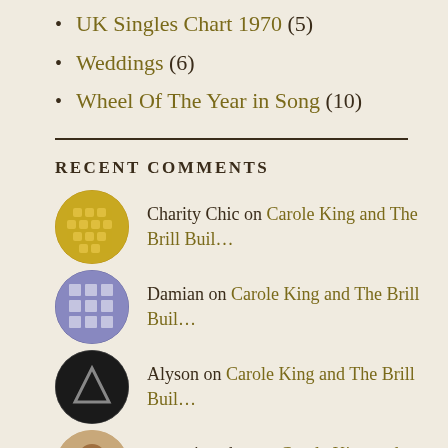UK Singles Chart 1970 (5)
Weddings (6)
Wheel Of The Year in Song (10)
RECENT COMMENTS
Charity Chic on Carole King and The Brill Buil…
Damian on Carole King and The Brill Buil…
Alyson on Carole King and The Brill Buil…
newepicauthor on Carole King and The Brill Buil…